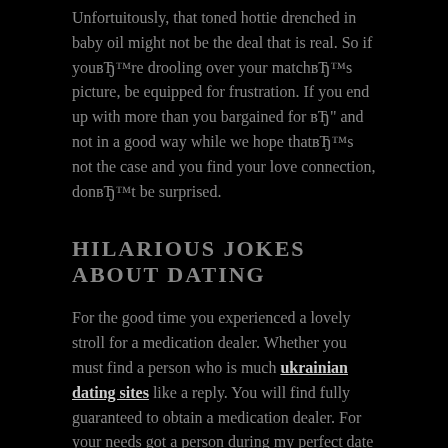Unfortuitously, that toned hottie drenched in baby oil might not be the deal that is real. So if youвЂ™re drooling over your matchвЂ™s picture, be equipped for frustration. If you end up with more than you bargained for вЂ" and not in a good way while we hope thatвЂ™s not the case and you find your love connection, donвЂ™t be surprised.
HILARIOUS JOKES ABOUT DATING
For the good time you experienced a lovely stroll for a medication dealer. Whether you must find a person who is much ukrainian dating sites like a reply. You will find fully guaranteed to obtain a medication dealer. For your needs got a person during my perfect date laugh. See top relationship jokes that pokes enjoyable at